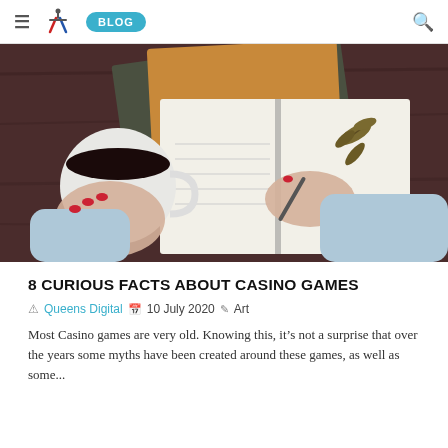≡ [logo] BLOG [search]
[Figure (photo): Overhead/top-down view of a woman's hands: one holding a white coffee mug, the other writing in an open notebook/journal with a pen. Brown leather journal and dark notebook stacked in background. A dried leaf/branch on the open notebook page. Wooden table surface. Woman wearing light blue sweater with red nail polish.]
8 CURIOUS FACTS ABOUT CASINO GAMES
Queens Digital  10 July 2020  Art
Most Casino games are very old. Knowing this, it&rsquo;s not a surprise that over the years some myths have been created around these games, as well as some...